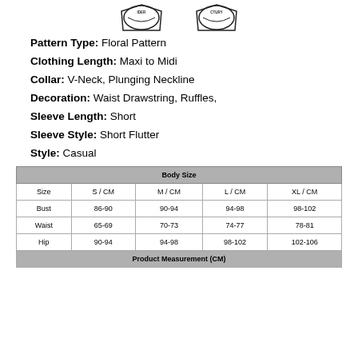[Figure (logo): Two circular badge/seal logos side by side at the top of the page]
Pattern Type: Floral Pattern
Clothing Length: Maxi to Midi
Collar: V-Neck, Plunging Neckline
Decoration: Waist Drawstring, Ruffles,
Sleeve Length: Short
Sleeve Style: Short Flutter
Style: Casual
| Body Size |  |  |  |  |
| --- | --- | --- | --- | --- |
| Size | S / CM | M / CM | L / CM | XL / CM |
| Bust | 86-90 | 90-94 | 94-98 | 98-102 |
| Waist | 65-69 | 70-73 | 74-77 | 78-81 |
| Hip | 90-94 | 94-98 | 98-102 | 102-106 |
| Product Measurement (CM) |  |  |  |  |